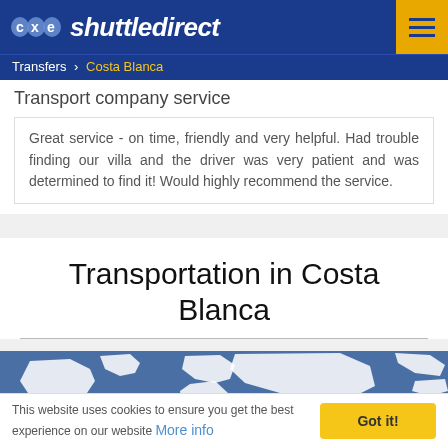shuttledirect
Transfers > Costa Blanca
Transport company service
Great service - on time, friendly and very helpful. Had trouble finding our villa and the driver was very patient and was determined to find it! Would highly recommend the service.
Transportation in Costa Blanca
[Figure (map): World map graphic on blue background showing white continent outlines]
This website uses cookies to ensure you get the best experience on our website More info